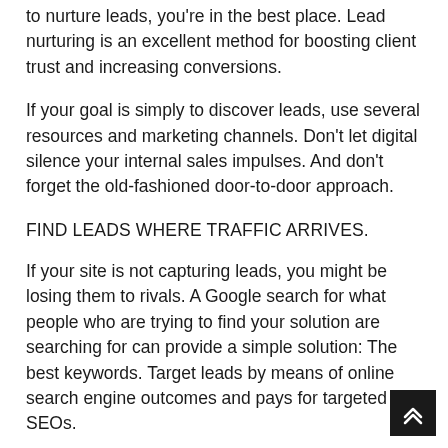to nurture leads, you're in the best place. Lead nurturing is an excellent method for boosting client trust and increasing conversions.
If your goal is simply to discover leads, use several resources and marketing channels. Don't let digital silence your internal sales impulses. And don't forget the old-fashioned door-to-door approach.
FIND LEADS WHERE TRAFFIC ARRIVES.
If your site is not capturing leads, you might be losing them to rivals. A Google search for what people who are trying to find your solution are searching for can provide a simple solution: The best keywords. Target leads by means of online search engine outcomes and pays for targeted SEOs.